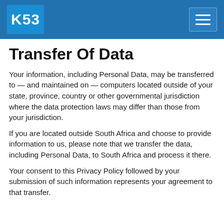K53
Transfer Of Data
Your information, including Personal Data, may be transferred to — and maintained on — computers located outside of your state, province, country or other governmental jurisdiction where the data protection laws may differ than those from your jurisdiction.
If you are located outside South Africa and choose to provide information to us, please note that we transfer the data, including Personal Data, to South Africa and process it there.
Your consent to this Privacy Policy followed by your submission of such information represents your agreement to that transfer.